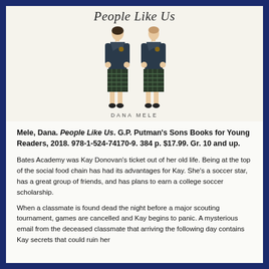[Figure (illustration): Book cover for 'People Like Us' by Dana Mele, showing two figures in school uniforms (blazers and plaid skirts). The title is in cursive script at the top and the author name 'DANA MELE' is printed at the bottom of the cover.]
Mele, Dana. People Like Us. G.P. Putman's Sons Books for Young Readers, 2018. 978-1-524-74170-9. 384 p. $17.99. Gr. 10 and up.
Bates Academy was Kay Donovan's ticket out of her old life. Being at the top of the social food chain has had its advantages for Kay. She's a soccer star, has a great group of friends, and has plans to earn a college soccer scholarship.
When a classmate is found dead the night before a major scouting tournament, games are cancelled and Kay begins to panic. A mysterious email from the deceased classmate that arriving the following day contains Kay secrets that could ruin her